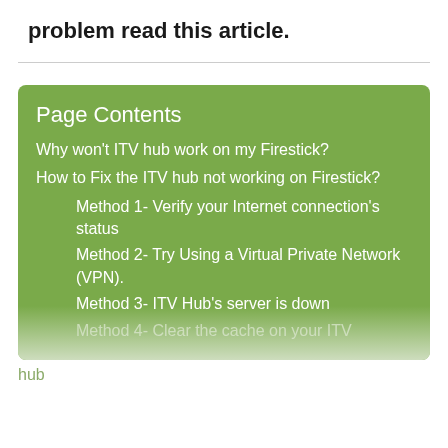problem read this article.
Page Contents
Why won't ITV hub work on my Firestick?
How to Fix the ITV hub not working on Firestick?
Method 1- Verify your Internet connection's status
Method 2- Try Using a Virtual Private Network (VPN).
Method 3- ITV Hub's server is down
Method 4- Clear the cache on your ITV hub